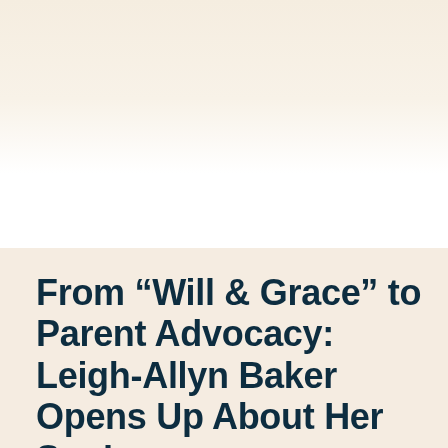From “Will & Grace” to Parent Advocacy: Leigh-Allyn Baker Opens Up About Her Son’s